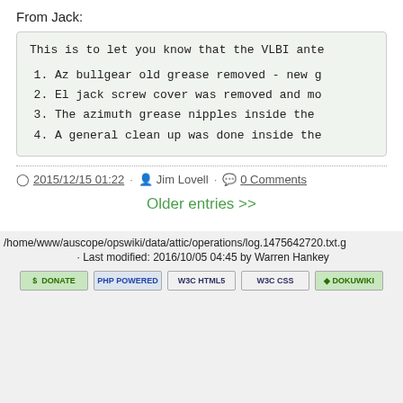From Jack:
This is to let you know that the VLBI ante
1. Az bullgear old grease removed - new g
2. El jack screw cover was removed and mo
3. The azimuth grease nipples inside the 
4. A general clean up was done inside the
2015/12/15 01:22 · Jim Lovell · 0 Comments
Older entries >>
/home/www/auscope/opswiki/data/attic/operations/log.1475642720.txt.g
· Last modified: 2016/10/05 04:45 by Warren Hankey
[Figure (other): Row of 5 badges: Donate, PHP Powered, W3C HTML5, W3C CSS, DokuWiki]